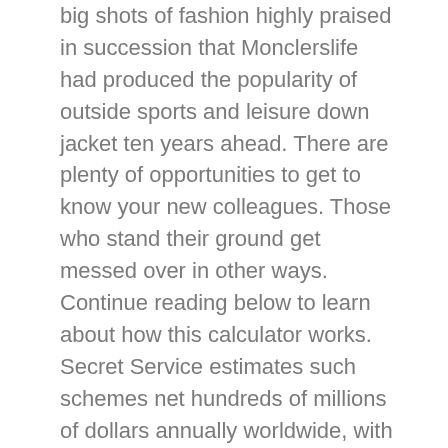big shots of fashion highly praised in succession that Monclerslife had produced the popularity of outside sports and leisure down jacket ten years ahead. There are plenty of opportunities to get to know your new colleagues. Those who stand their ground get messed over in other ways. Continue reading below to learn about how this calculator works. Secret Service estimates such schemes net hundreds of millions of dollars annually worldwide, with many victims too afraid or embarrassed to report their losses. Any loans to or from any company directors or shareholders should be repaid.
GENERIC IMIGRAN PILLS BUY
Clients can be sure that their claims will Canadian...